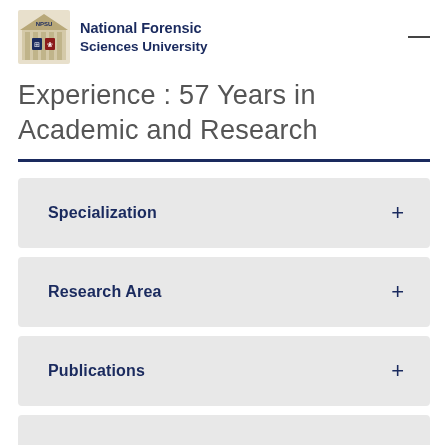National Forensic Sciences University
Experience : 57 Years in Academic and Research
Specialization
Research Area
Publications